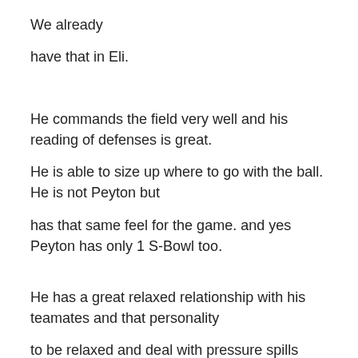We already
have that in Eli.
He commands the field very well and his reading of defenses is great.
He is able to size up where to go with the ball. He is not Peyton but
has that same feel for the game. and yes Peyton has only 1 S-Bowl too.
He has a great relaxed relationship with his teamates and that personality
to be relaxed and deal with pressure spills over to the entire team.
Eli...